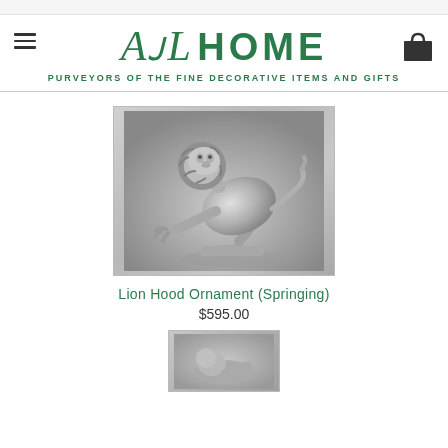AOL HOME – PURVEYORS OF THE FINE DECORATIVE ITEMS AND GIFTS
[Figure (photo): Chrome/silver lion hood ornament in springing pose on a pedestal, set against a grey gradient background]
Lion Hood Ornament (Springing)
$595.00
[Figure (photo): Partial view of a second product at the bottom of the page]